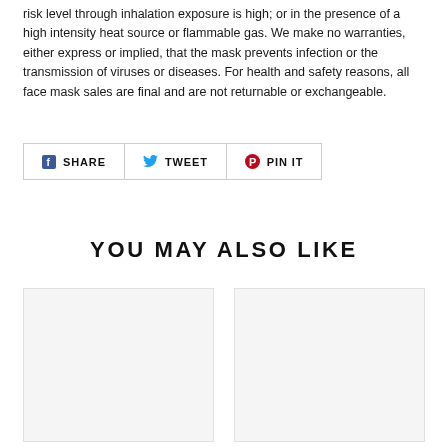risk level through inhalation exposure is high; or in the presence of a high intensity heat source or flammable gas. We make no warranties, either express or implied, that the mask prevents infection or the transmission of viruses or diseases. For health and safety reasons, all face mask sales are final and are not returnable or exchangeable.
[Figure (other): Social sharing buttons: SHARE (Facebook), TWEET (Twitter), PIN IT (Pinterest)]
YOU MAY ALSO LIKE
[Figure (other): Two product image placeholder cards side by side]